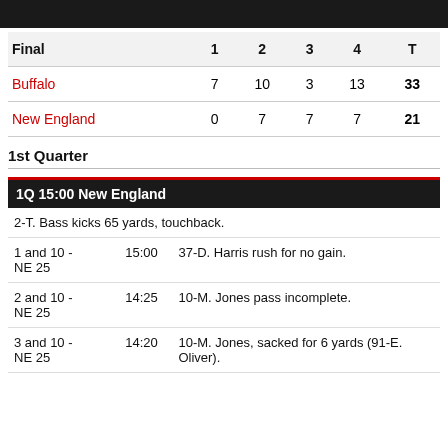| Final | 1 | 2 | 3 | 4 | T |
| --- | --- | --- | --- | --- | --- |
| Buffalo | 7 | 10 | 3 | 13 | 33 |
| New England | 0 | 7 | 7 | 7 | 21 |
1st Quarter
1Q 15:00 New England
| BUF 35 |  | 2-T. Bass kicks 65 yards, touchback. |
| 1 and 10 - NE 25 | 15:00 | 37-D. Harris rush for no gain. |
| 2 and 10 - NE 25 | 14:25 | 10-M. Jones pass incomplete. |
| 3 and 10 - | 14:20 | 10-M. Jones, sacked for 6 yards (91-E. Oliver). |